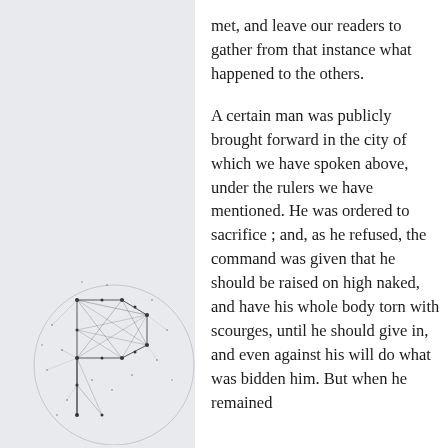met, and leave our readers to gather from that instance what happened to the others.

A certain man was publicly brought forward in the city of which we have spoken above, under the rulers we have mentioned. He was ordered to sacrifice ; and, as he refused, the command was given that he should be raised on high naked, and have his whole body torn with scourges, until he should give in, and even against his will do what was bidden him. But when he remained
[Figure (logo): A circular logo with a geometric network/polygon letter P made of interconnected nodes and lines, resembling a constellation or wireframe structure.]